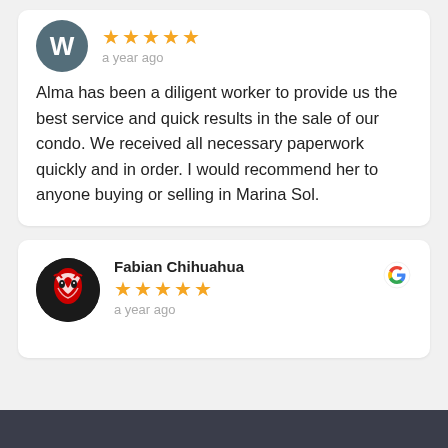★★★★★
a year ago
Alma has been a diligent worker to provide us the best service and quick results in the sale of our condo. We received all necessary paperwork quickly and in order. I would recommend her to anyone buying or selling in Marina Sol.
Fabian Chihuahua
★★★★★
a year ago